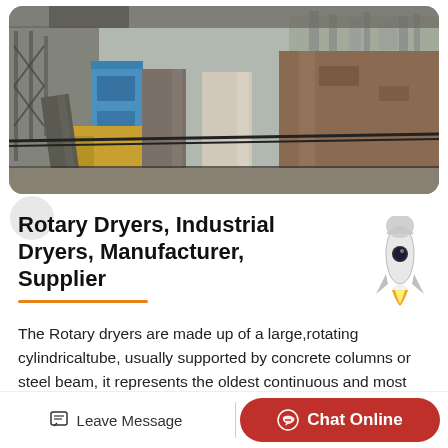[Figure (photo): Industrial rotary dryer facility with large cylindrical tubes/pipes supported by concrete columns and steel beams; blue building section visible; industrial complex in background.]
Rotary Dryers, Industrial Dryers, Manufacturer, Supplier
The Rotary dryers are made up of a large,rotating cylindricaltube, usually supported by concrete columns or steel beam, it represents the oldest continuous and most common hi…
Leave Message  Chat Online